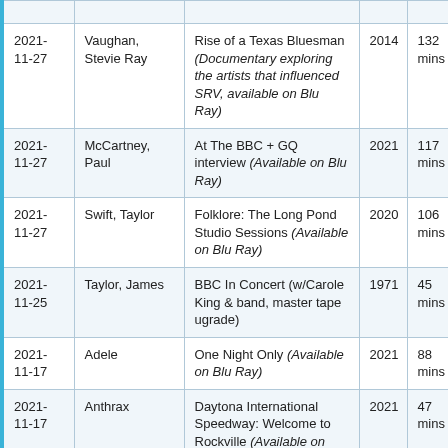| Date | Artist | Title | Year | Duration |
| --- | --- | --- | --- | --- |
| 2021-11-27 | Vaughan, Stevie Ray | Rise of a Texas Bluesman (Documentary exploring the artists that influenced SRV, available on Blu Ray) | 2014 | 132 mins |
| 2021-11-27 | McCartney, Paul | At The BBC + GQ interview (Available on Blu Ray) | 2021 | 117 mins |
| 2021-11-27 | Swift, Taylor | Folklore: The Long Pond Studio Sessions (Available on Blu Ray) | 2020 | 106 mins |
| 2021-11-25 | Taylor, James | BBC In Concert (w/Carole King & band, master tape ugrade) | 1971 | 45 mins |
| 2021-11-17 | Adele | One Night Only (Available on Blu Ray) | 2021 | 88 mins |
| 2021-11-17 | Anthrax | Daytona International Speedway: Welcome to Rockville (Available on | 2021 | 47 mins |